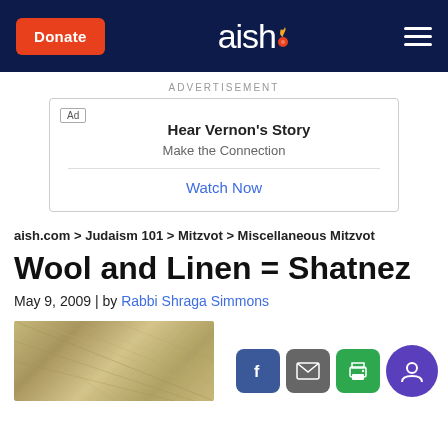Donate | aish. | [menu]
ADVERTISEMENT
[Figure (screenshot): Advertisement box with 'Ad' tag, headline 'Hear Vernon's Story', subtext 'Make the Connection', and a 'Watch Now' link in blue.]
aish.com > Judaism 101 > Mitzvot > Miscellaneous Mitzvot
Wool and Linen = Shatnez
May 9, 2009 | by Rabbi Shraga Simmons
[Figure (photo): Close-up texture photo of fabric or wool/linen material at the bottom left of the page.]